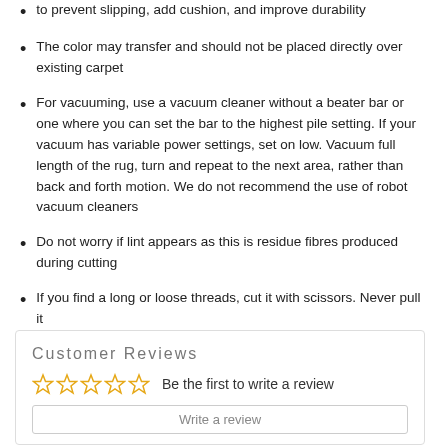to prevent slipping, add cushion, and improve durability
The color may transfer and should not be placed directly over existing carpet
For vacuuming, use a vacuum cleaner without a beater bar or one where you can set the bar to the highest pile setting. If your vacuum has variable power settings, set on low. Vacuum full length of the rug, turn and repeat to the next area, rather than back and forth motion. We do not recommend the use of robot vacuum cleaners
Do not worry if lint appears as this is residue fibres produced during cutting
If you find a long or loose threads, cut it with scissors. Never pull it
Customer Reviews
Be the first to write a review
Write a review